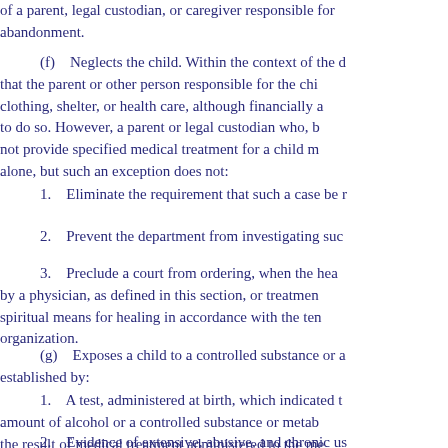of a parent, legal custodian, or caregiver responsible for abandonment.
(f) Neglects the child. Within the context of the definition, that the parent or other person responsible for the child's clothing, shelter, or health care, although financially able to do so. However, a parent or legal custodian who, by reason of not provide specified medical treatment for a child may not be alone, but such an exception does not:
1. Eliminate the requirement that such a case be reported.
2. Prevent the department from investigating such a report.
3. Preclude a court from ordering, when the health of the child requires it, the provision by a physician, as defined in this section, or treatment in lieu of spiritual means for healing in accordance with the tenets and practices of a recognized religious organization.
(g) Exposes a child to a controlled substance or alcohol, as established by:
1. A test, administered at birth, which indicated the presence of an amount of alcohol or a controlled substance or metabolite thereof, unless the result of medical treatment administered to the mother or child.
2. Evidence of extensive, abusive, and chronic use of a controlled substance or alcohol by the parent to the extent that the parent's ability to provide supervision and care is compromised.